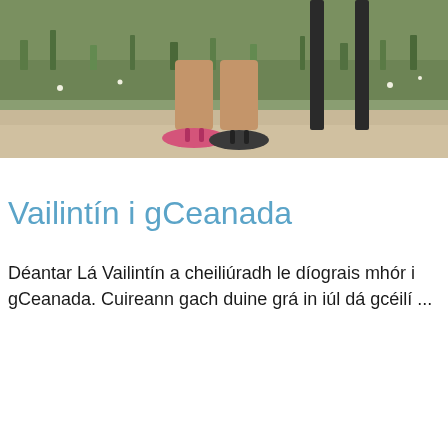[Figure (photo): Cropped photo showing a person's feet wearing flip-flops, standing on a dirt/gravel path with green grass in the background and a dark chair or bench partially visible.]
Vailintín i gCeanada
Déantar Lá Vailintín a cheiliúradh le díograis mhór i gCeanada. Cuireann gach duine grá in iúl dá gcéilí ...